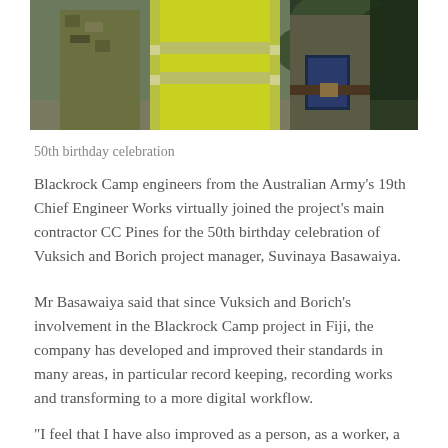[Figure (photo): Two people standing outdoors; one wearing a bright yellow high-visibility vest with reflective strips and camouflage clothing, the other in camouflage uniform holding a dark folder/clipboard. Green foliage visible in background.]
50th birthday celebration
Blackrock Camp engineers from the Australian Army's 19th Chief Engineer Works virtually joined the project's main contractor CC Pines for the 50th birthday celebration of Vuksich and Borich project manager, Suvinaya Basawaiya.
Mr Basawaiya said that since Vuksich and Borich's involvement in the Blackrock Camp project in Fiji, the company has developed and improved their standards in many areas, in particular record keeping, recording works and transforming to a more digital workflow.
“I feel that I have also improved as a person, as a worker, a